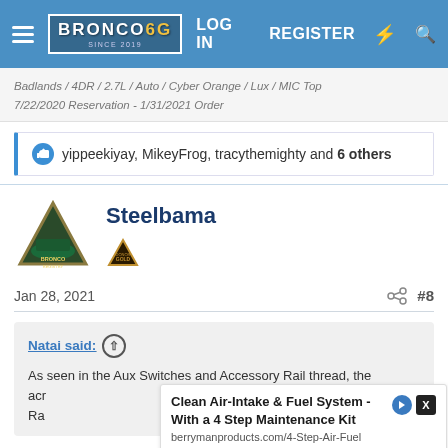Bronco6G.com — LOG IN  REGISTER
Badlands / 4DR / 2.7L / Auto / Cyber Orange / Lux / MIC Top
7/22/2020 Reservation - 1/31/2021 Order
yippeekiyay, MikeyFrog, tracythemighty and 6 others
Steelbama
Jan 28, 2021   #8
Natai said: ↑

As seen in the Aux Switches and Accessory Rail thread, the … across … Rail …
Clean Air-Intake & Fuel System - With a 4 Step Maintenance Kit
berrymanproducts.com/4-Step-Air-Fuel